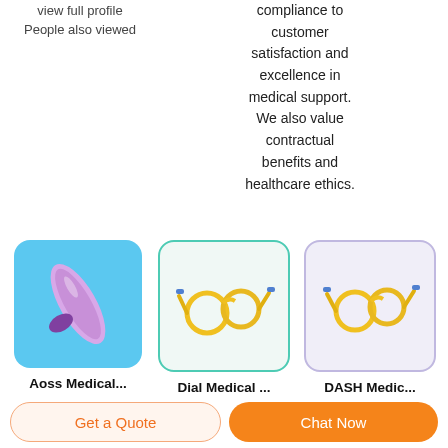view full profile
People also viewed
compliance to customer satisfaction and excellence in medical support. We also value contractual benefits and healthcare ethics.
[Figure (photo): Purple/lavender medical tube/centrifuge tube on blue background]
[Figure (photo): Yellow medical tubing/IV lines coiled on white background with teal border]
[Figure (photo): Yellow medical tubing/IV lines coiled on lavender background with purple border]
Aoss Medical...
Dial Medical ...
DASH Medic...
Get a Quote
Chat Now